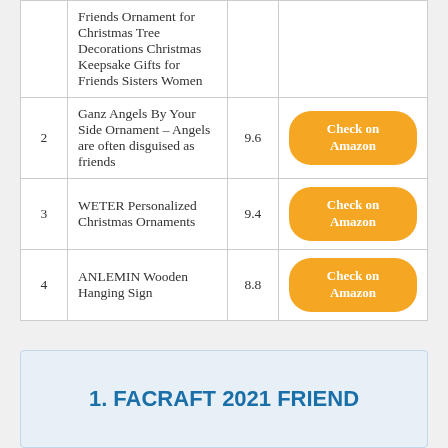| # | Name | Score |  |
| --- | --- | --- | --- |
|  | Friends Ornament for Christmas Tree Decorations Christmas Keepsake Gifts for Friends Sisters Women |  |  |
| 2 | Ganz Angels By Your Side Ornament – Angels are often disguised as friends | 9.6 | Check on Amazon |
| 3 | WETER Personalized Christmas Ornaments | 9.4 | Check on Amazon |
| 4 | ANLEMIN Wooden Hanging Sign | 8.8 | Check on Amazon |
1. FACRAFT 2021 FRIEND